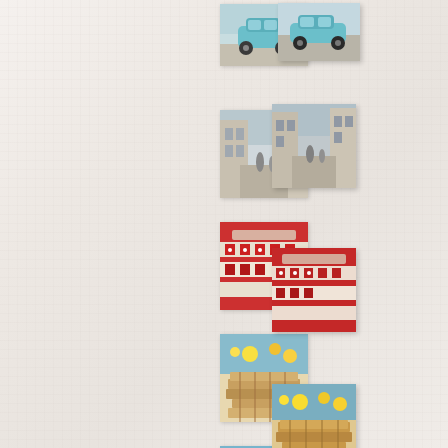[Figure (photo): Small thumbnail photo of a teal/blue vintage car or vehicle on a light background]
[Figure (photo): Small thumbnail photo of a European street scene with buildings]
[Figure (photo): Small thumbnail photo of colorful market items, red and patterned textiles or flags]
[Figure (photo): Small thumbnail photo of books or stacked market items, warm tones]
[Figure (photo): Small thumbnail photo of a sign reading 'BROCANTE' against blue sky]
[Figure (photo): Small thumbnail photo of colorful items, bright yellows, greens and pinks, possibly flowers or market goods]
[Figure (photo): Small thumbnail photo of ivy-covered building facade]
[Figure (photo): Small thumbnail photo of green trees against blue sky]
[Figure (photo): Partially visible thumbnail photo at bottom edge]